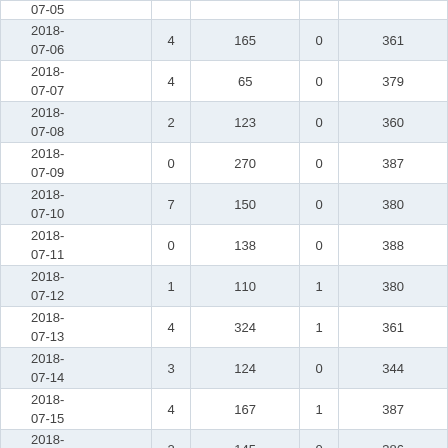| date | col1 | col2 | col3 | col4 |
| --- | --- | --- | --- | --- |
| 2018-07-06 | 4 | 165 | 0 | 361 |
| 2018-07-07 | 4 | 65 | 0 | 379 |
| 2018-07-08 | 2 | 123 | 0 | 360 |
| 2018-07-09 | 0 | 270 | 0 | 387 |
| 2018-07-10 | 7 | 150 | 0 | 380 |
| 2018-07-11 | 0 | 138 | 0 | 388 |
| 2018-07-12 | 1 | 110 | 1 | 380 |
| 2018-07-13 | 4 | 324 | 1 | 361 |
| 2018-07-14 | 3 | 124 | 0 | 344 |
| 2018-07-15 | 4 | 167 | 1 | 387 |
| 2018-07-16 | 2 | 145 | 0 | 386 |